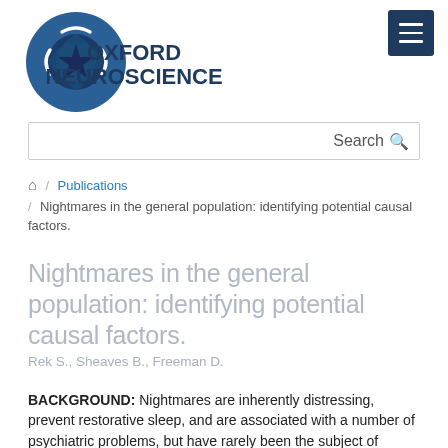[Figure (logo): Oxford Neuroscience logo with circular brain icon and text]
Search
🏠 / Publications / Nightmares in the general population: identifying potential causal factors.
Nightmares in the general population: identifying potential causal factors.
Rek S., Sheaves B., Freeman D.
BACKGROUND: Nightmares are inherently distressing, prevent restorative sleep, and are associated with a number of psychiatric problems, but have rarely been the subject of